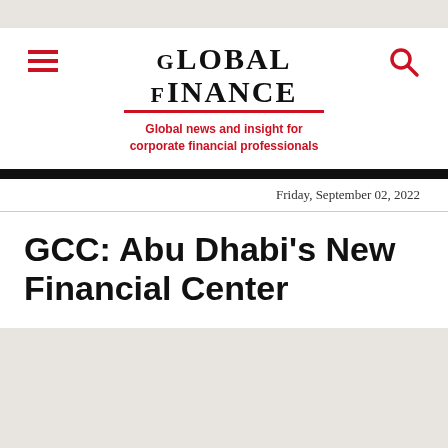Global Finance — Global news and insight for corporate financial professionals
Friday, September 02, 2022
GCC: Abu Dhabi's New Financial Center